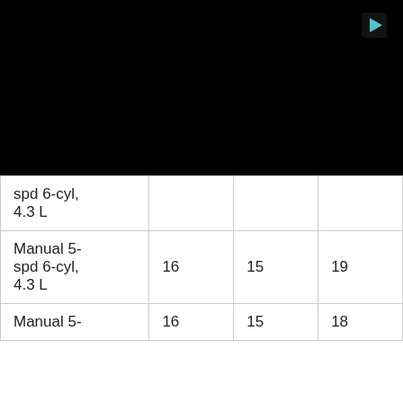[Figure (screenshot): Black video player area with a cyan play button icon in the upper right corner]
| spd 6-cyl, 4.3 L |  |  |  |
| Manual 5-spd 6-cyl, 4.3 L | 16 | 15 | 19 |
| Manual 5- | 16 | 15 | 18 |